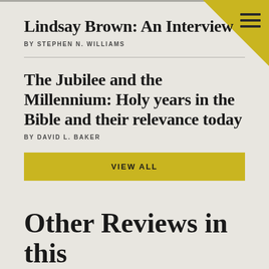Lindsay Brown: An Interview
BY STEPHEN N. WILLIAMS
The Jubilee and the Millennium: Holy years in the Bible and their relevance today
BY DAVID L. BAKER
VIEW ALL
Other Reviews in this